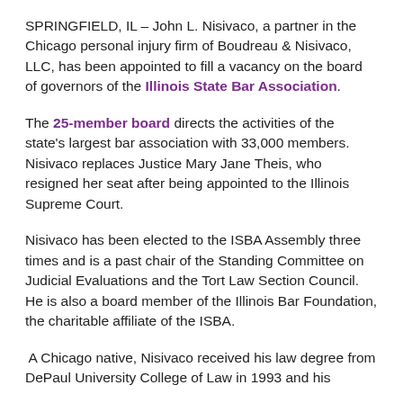SPRINGFIELD, IL – John L. Nisivaco, a partner in the Chicago personal injury firm of Boudreau & Nisivaco, LLC, has been appointed to fill a vacancy on the board of governors of the Illinois State Bar Association.
The 25-member board directs the activities of the state's largest bar association with 33,000 members. Nisivaco replaces Justice Mary Jane Theis, who resigned her seat after being appointed to the Illinois Supreme Court.
Nisivaco has been elected to the ISBA Assembly three times and is a past chair of the Standing Committee on Judicial Evaluations and the Tort Law Section Council. He is also a board member of the Illinois Bar Foundation, the charitable affiliate of the ISBA.
A Chicago native, Nisivaco received his law degree from DePaul University College of Law in 1993 and his...